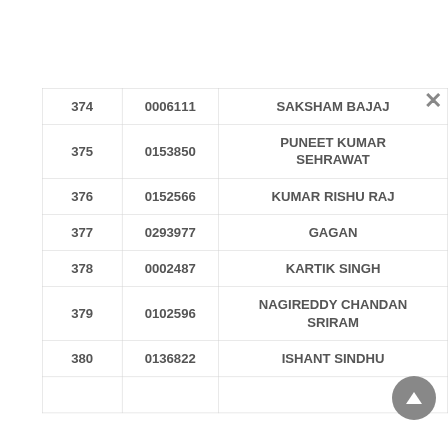| 374 | 0006111 | SAKSHAM BAJAJ |
| 375 | 0153850 | PUNEET KUMAR SEHRAWAT |
| 376 | 0152566 | KUMAR RISHU RAJ |
| 377 | 0293977 | GAGAN |
| 378 | 0002487 | KARTIK SINGH |
| 379 | 0102596 | NAGIREDDY CHANDAN SRIRAM |
| 380 | 0136822 | ISHANT SINDHU |